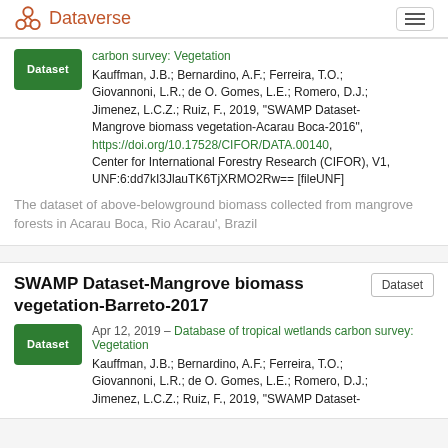Dataverse
carbon survey: Vegetation
Kauffman, J.B.; Bernardino, A.F.; Ferreira, T.O.; Giovannoni, L.R.; de O. Gomes, L.E.; Romero, D.J.; Jimenez, L.C.Z.; Ruiz, F., 2019, "SWAMP Dataset-Mangrove biomass vegetation-Acarau Boca-2016", https://doi.org/10.17528/CIFOR/DATA.00140, Center for International Forestry Research (CIFOR), V1, UNF:6:dd7kI3JlauTK6TjXRMO2Rw== [fileUNF]
The dataset of above-belowground biomass collected from mangrove forests in Acarau Boca, Rio Acarau', Brazil
SWAMP Dataset-Mangrove biomass vegetation-Barreto-2017
Apr 12, 2019 – Database of tropical wetlands carbon survey: Vegetation
Kauffman, J.B.; Bernardino, A.F.; Ferreira, T.O.; Giovannoni, L.R.; de O. Gomes, L.E.; Romero, D.J.; Jimenez, L.C.Z.; Ruiz, F., 2019, "SWAMP Dataset-